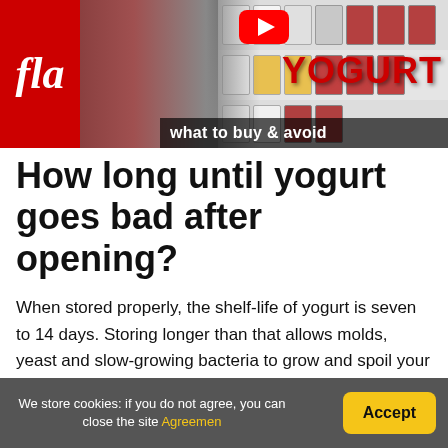[Figure (screenshot): YouTube video thumbnail showing a person in a grocery store yogurt aisle, with red YOGURT text and subtitle 'what to buy & avoid', plus a play button. Left side shows a red logo with italic text 'fla'.]
How long until yogurt goes bad after opening?
When stored properly, the shelf-life of yogurt is seven to 14 days. Storing longer than that allows molds, yeast and slow-growing bacteria to grow and spoil your yogurt. If left out of the refrigerator for two hours or less, yogurt can safely be put back in the refrigerator to eat at a later time.
We store cookies: if you do not agree, you can close the site Agreemen